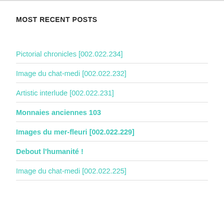MOST RECENT POSTS
Pictorial chronicles [002.022.234]
Image du chat-medi [002.022.232]
Artistic interlude [002.022.231]
Monnaies anciennes 103
Images du mer-fleuri [002.022.229]
Debout l'humanité !
Image du chat-medi [002.022.225]